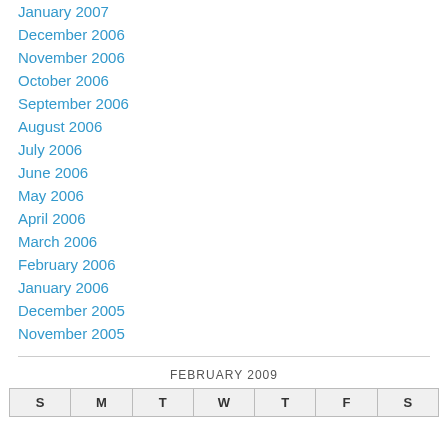January 2007
December 2006
November 2006
October 2006
September 2006
August 2006
July 2006
June 2006
May 2006
April 2006
March 2006
February 2006
January 2006
December 2005
November 2005
| S | M | T | W | T | F | S |
| --- | --- | --- | --- | --- | --- | --- |